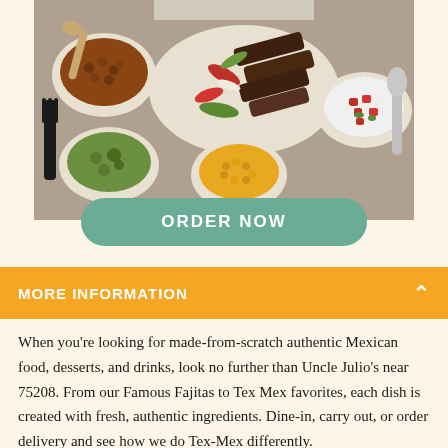[Figure (photo): Overhead view of Tex-Mex food spread including fajitas with grilled meat and peppers, bowls of beans, guacamole, corn, and pico de gallo on a table]
ORDER NOW
MORE INFORMATION
When you're looking for made-from-scratch authentic Mexican food, desserts, and drinks, look no further than Uncle Julio's near 75208. From our Famous Fajitas to Tex Mex favorites, each dish is created with fresh, authentic ingredients. Dine-in, carry out, or order delivery and see how we do Tex-Mex differently.